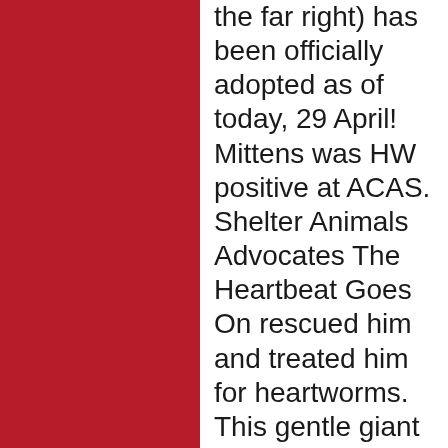[Figure (other): Solid dark red/crimson colored rectangular panel on the left side of the page]
the far right) has been officially adopted as of today, 29 April! Mittens was HW positive at ACAS. Shelter Animals Advocates The Heartbeat Goes On rescued him and treated him for heartworms. This gentle giant hit the jackpot with his new home! He has two new fur sisters, Scarlett (the little old lady on left) and Rue (a SAA HeartBeat alum). We